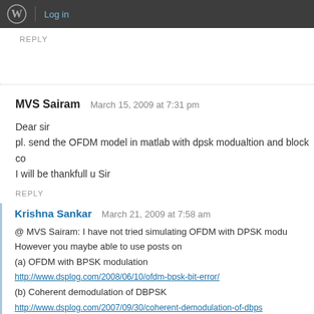Log in
REPLY
MVS Sairam   March 15, 2009 at 7:31 pm
Dear sir
pl. send the OFDM model in matlab with dpsk modualtion and block co
I will be thankfull u Sir
REPLY
Krishna Sankar   March 21, 2009 at 7:58 am
@ MVS Sairam: I have not tried simulating OFDM with DPSK modu
However you maybe able to use posts on
(a) OFDM with BPSK modulation
http://www.dsplog.com/2008/06/10/ofdm-bpsk-bit-error/
(b) Coherent demodulation of DBPSK
http://www.dsplog.com/2007/09/30/coherent-demodulation-of-dbps
as reference